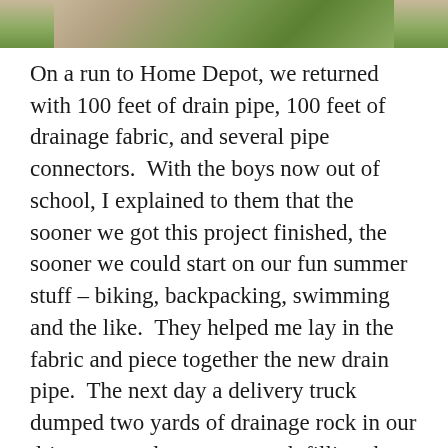[Figure (photo): Partial photo showing sandy/dirt ground and green grass, cropped at top of page]
On a run to Home Depot, we returned with 100 feet of drain pipe, 100 feet of drainage fabric, and several pipe connectors.  With the boys now out of school, I explained to them that the sooner we got this project finished, the sooner we could start on our fun summer stuff – biking, backpacking, swimming and the like.  They helped me lay in the fabric and piece together the new drain pipe.  The next day a delivery truck dumped two yards of drainage rock in our driveway, and we set to work filling the drain with the rock – two five gallon buckets of rock at a time.  This time around we made sure to completely seal the drain with the drainage fabric to prevent soil from clogging the drain like the last one.  As I sit here towards the end of the third week, we are completely done with